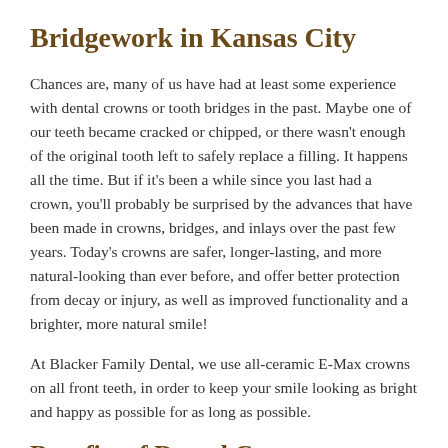Bridgework in Kansas City
Chances are, many of us have had at least some experience with dental crowns or tooth bridges in the past. Maybe one of our teeth became cracked or chipped, or there wasn’t enough of the original tooth left to safely replace a filling. It happens all the time. But if it’s been a while since you last had a crown, you’ll probably be surprised by the advances that have been made in crowns, bridges, and inlays over the past few years. Today’s crowns are safer, longer-lasting, and more natural-looking than ever before, and offer better protection from decay or injury, as well as improved functionality and a brighter, more natural smile!
At Blacker Family Dental, we use all-ceramic E-Max crowns on all front teeth, in order to keep your smile looking as bright and happy as possible for as long as possible.
Benefits of Dental Crowns